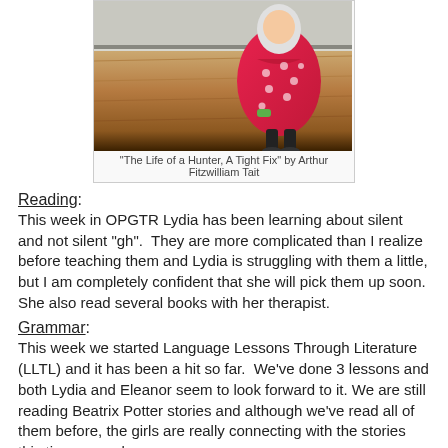[Figure (photo): Photo of a toddler wearing a pink polka-dot jacket standing on a wood floor]
"The Life of a Hunter, A Tight Fix" by Arthur Fitzwilliam Tait
Reading:
This week in OPGTR Lydia has been learning about silent and not silent "gh".  They are more complicated than I realize before teaching them and Lydia is struggling with them a little, but I am completely confident that she will pick them up soon.  She also read several books with her therapist.
Grammar:
This week we started Language Lessons Through Literature (LLTL) and it has been a hit so far.  We've done 3 lessons and both Lydia and Eleanor seem to look forward to it. We are still reading Beatrix Potter stories and although we've read all of them before, the girls are really connecting with the stories this time around.